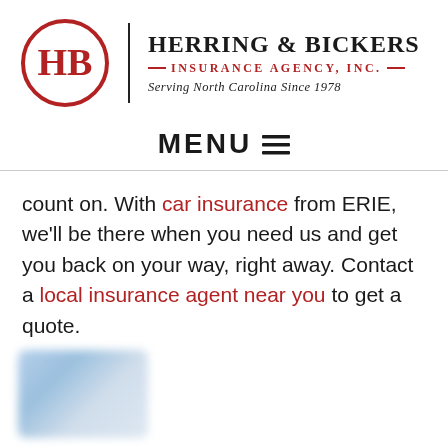[Figure (logo): Herring & Bickers Insurance Agency logo: circular red border with 'HB' letters in red inside, vertical divider line, agency name and tagline text to the right]
MENU ☰
count on. With car insurance from ERIE, we'll be there when you need us and get you back on your way, right away. Contact a local insurance agent near you to get a quote.
[Figure (other): Blurred/redacted image at the bottom left of the page]